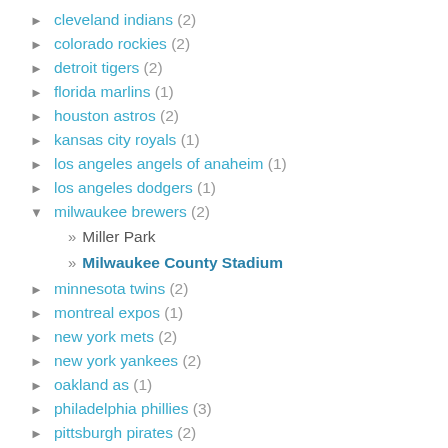cleveland indians (2)
colorado rockies (2)
detroit tigers (2)
florida marlins (1)
houston astros (2)
kansas city royals (1)
los angeles angels of anaheim (1)
los angeles dodgers (1)
milwaukee brewers (2)
» Miller Park
» Milwaukee County Stadium
minnesota twins (2)
montreal expos (1)
new york mets (2)
new york yankees (2)
oakland as (1)
philadelphia phillies (3)
pittsburgh pirates (2)